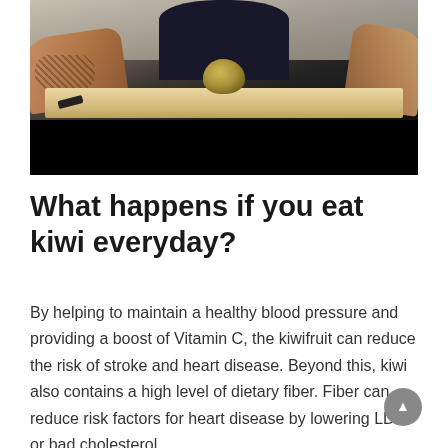[Figure (photo): A person with a tattooed arm preparing a kiwi fruit on a cutting board. The lower portion of the image is obscured by a black bar, suggesting a video player interface.]
What happens if you eat kiwi everyday?
By helping to maintain a healthy blood pressure and providing a boost of Vitamin C, the kiwifruit can reduce the risk of stroke and heart disease. Beyond this, kiwi also contains a high level of dietary fiber. Fiber can reduce risk factors for heart disease by lowering LDL or bad cholesterol.